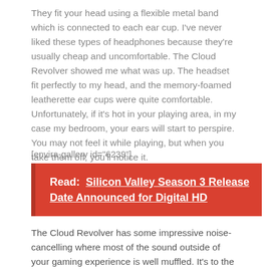They fit your head using a flexible metal band which is connected to each ear cup. I've never liked these types of headphones because they're usually cheap and uncomfortable. The Cloud Revolver showed me what was up. The headset fit perfectly to my head, and the memory-foamed leatherette ear cups were quite comfortable. Unfortunately, if it's hot in your playing area, in my case my bedroom, your ears will start to perspire. You may not feel it while playing, but when you take them off, you'll notice it.
[envira-gallery id="6239"]
Read: Silicon Valley Season 3 Release Date Announced for Digital HD
The Cloud Revolver has some impressive noise-cancelling where most of the sound outside of your gaming experience is well muffled. It's to the point where I can't comprehend what my dad is saying